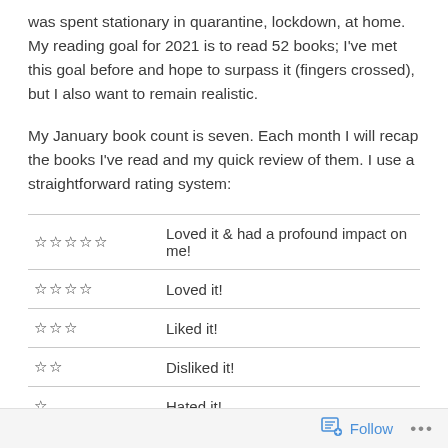was spent stationary in quarantine, lockdown, at home. My reading goal for 2021 is to read 52 books; I've met this goal before and hope to surpass it (fingers crossed), but I also want to remain realistic.
My January book count is seven. Each month I will recap the books I've read and my quick review of them. I use a straightforward rating system:
| Stars | Description |
| --- | --- |
| ☆☆☆☆☆ | Loved it & had a profound impact on me! |
| ☆☆☆☆ | Loved it! |
| ☆☆☆ | Liked it! |
| ☆☆ | Disliked it! |
| ☆ | Hated it! |
Follow ...